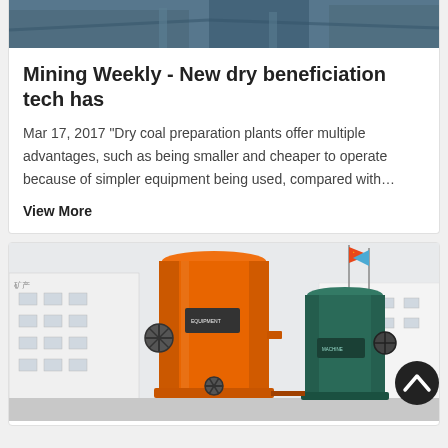[Figure (photo): Partial top image of industrial equipment, cropped at top of page]
Mining Weekly - New dry beneficiation tech has
Mar 17, 2017 “Dry coal preparation plants offer multiple advantages, such as being smaller and cheaper to operate because of simpler equipment being used, compared with…
View More
[Figure (photo): Industrial mining equipment: large orange cylindrical machine (beneficiation unit) and smaller teal/green cylindrical machine outdoors in front of white industrial building with flags in background]